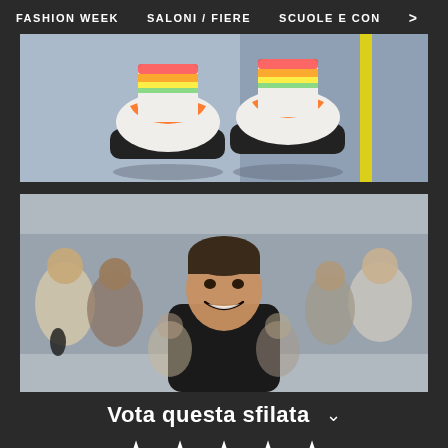FASHION WEEK   SALONI / FIERE   SCUOLE E CON >
[Figure (photo): Close-up photo of feet wearing orange and white colorful sneakers with rainbow-gradient socks on a blue/grey floor with a yellow line]
[Figure (photo): Photo of a smiling man with dark hair wearing a black hoodie, surrounded by an audience of seated people in a fashion show setting]
Vota questa sfilata
★ ★ ★ ★ ★